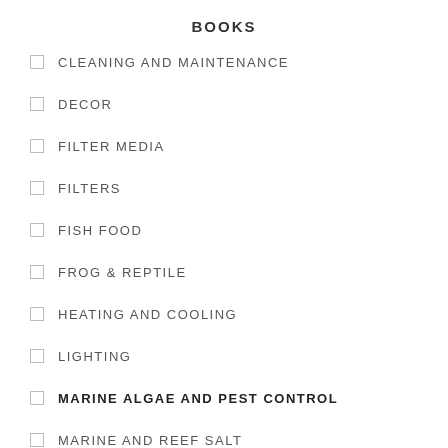BOOKS
CLEANING AND MAINTENANCE
DECOR
FILTER MEDIA
FILTERS
FISH FOOD
FROG & REPTILE
HEATING AND COOLING
LIGHTING
MARINE ALGAE AND PEST CONTROL
MARINE AND REEF SALT